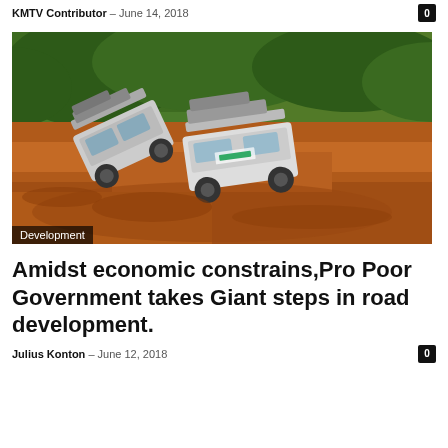KMTV Contributor – June 14, 2018
[Figure (photo): Two SUVs stuck and tilted in deep red mud on a rough, unpaved road surrounded by green vegetation. One vehicle is nearly overturned. A 'Development' category tag overlays the bottom-left corner.]
Development
Amidst economic constrains,Pro Poor Government takes Giant steps in road development.
Julius Konton – June 12, 2018